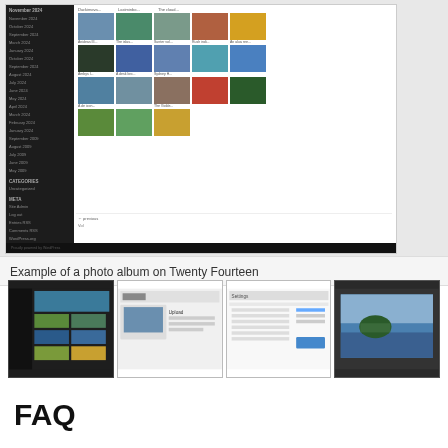[Figure (screenshot): Screenshot of a WordPress Twenty Fourteen theme showing a photo album gallery with thumbnail grid images of various landscapes and scenes (bridges, fields, water, forests), a dark left sidebar with archive links and meta links, and a black footer bar.]
Example of a photo album on Twenty Fourteen
[Figure (screenshot): Four thumbnail screenshots showing the photo album plugin interface in WordPress, including the front-end gallery view, backend upload settings, plugin configuration options, and a preview of a coastal image.]
FAQ